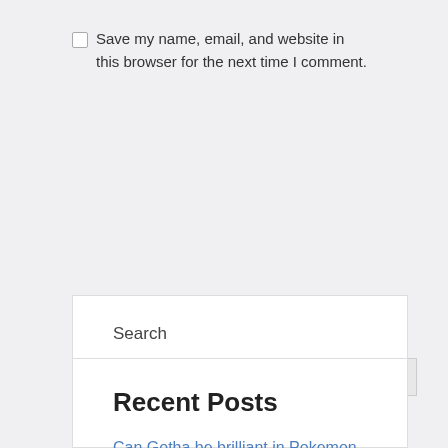Save my name, email, and website in this browser for the next time I comment.
Post Comment
Search
Search
Recent Posts
Can Gotha be brilliant in Pokemon Go...